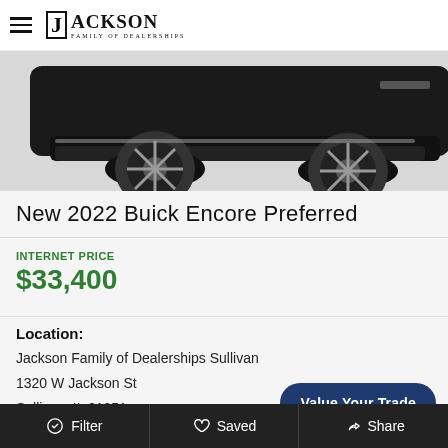Jackson Family of Dealerships
[Figure (photo): Partial rear/side view of a black 2022 Buick Encore SUV on a light grey background]
New 2022 Buick Encore Preferred
INTERNET PRICE
$33,400
Location:
Jackson Family of Dealerships Sullivan
1320 W Jackson St
Sullivan, IL 61951
Filter   Saved   Share